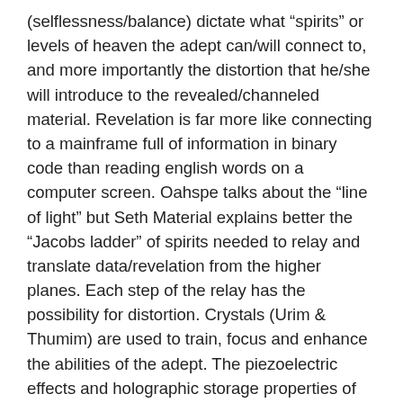(selflessness/balance) dictate what “spirits” or levels of heaven the adept can/will connect to, and more importantly the distortion that he/she will introduce to the revealed/channeled material. Revelation is far more like connecting to a mainframe full of information in binary code than reading english words on a computer screen. Oahspe talks about the “line of light” but Seth Material explains better the “Jacobs ladder” of spirits needed to relay and translate data/revelation from the higher planes. Each step of the relay has the possibility for distortion. Crystals (Urim & Thumim) are used to train, focus and enhance the abilities of the adept. The piezoelectric effects and holographic storage properties of crystals were far better understood by the ancients; as well as techniques for using them to interface with human consciousness. I suspect this issue will be addressed as the millennial age progresses, and channeling (revelation with God/gods through the veil) will become a regular part of the temple ceremony. Our